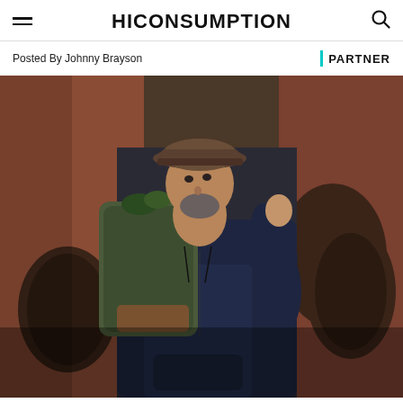HICONSUMPTION
Posted By Johnny Brayson
/ PARTNER
[Figure (photo): A middle-aged man wearing a brown flat cap and navy blue hoodie, carrying a green bag over his shoulder, standing in front of a red brick building with arched windows.]